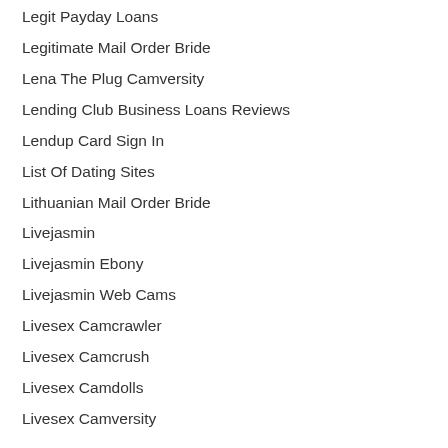Legit Payday Loans
Legitimate Mail Order Bride
Lena The Plug Camversity
Lending Club Business Loans Reviews
Lendup Card Sign In
List Of Dating Sites
Lithuanian Mail Order Bride
Livejasmin
Livejasmin Ebony
Livejasmin Web Cams
Livesex Camcrawler
Livesex Camcrush
Livesex Camdolls
Livesex Camversity